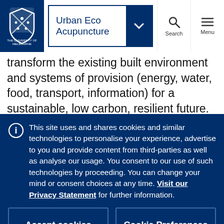Urban Eco Acupuncture
transform the existing built environment and systems of provision (energy, water, food, transport, information) for a sustainable, low carbon, resilient future. What steps must be taken today to get there? The aim is to identify opportunities that can become sites of design intervention to shift the path of innovation on a new trajectory: towards sustainable,
This site uses and shares cookies and similar technologies to personalise your experience, advertise to you and provide content from third-parties as well as analyse our usage. You consent to our use of such technologies by proceeding. You can change your mind or consent choices at any time. Visit our Privacy Statement for further information.
Accept cookies
Cookie Preferences